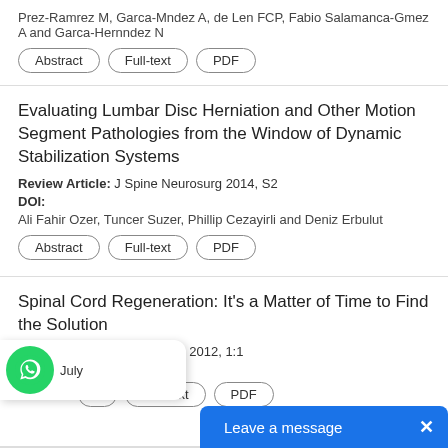Prez-Ramrez M, Garca-Mndez A, de Len FCP, Fabio Salamanca-Gmez A and Garca-Hernndez N
Abstract | Full-text | PDF
Evaluating Lumbar Disc Herniation and Other Motion Segment Pathologies from the Window of Dynamic Stabilization Systems
Review Article: J Spine Neurosurg 2014, S2
DOI:
Ali Fahir Ozer, Tuncer Suzer, Phillip Cezayirli and Deniz Erbulut
Abstract | Full-text | PDF
Spinal Cord Regeneration: It's a Matter of Time to Find the Solution
Editorial: J Spine Neurosurg 2012, 1:1
DOI:
July
Abstract | Full-text | PDF